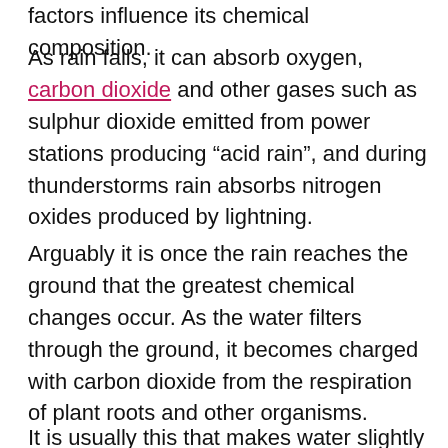factors influence its chemical composition.
As rain falls, it can absorb oxygen, carbon dioxide and other gases such as sulphur dioxide emitted from power stations producing “acid rain”, and during thunderstorms rain absorbs nitrogen oxides produced by lightning.
Arguably it is once the rain reaches the ground that the greatest chemical changes occur. As the water filters through the ground, it becomes charged with carbon dioxide from the respiration of plant roots and other organisms.
It is usually this that makes water slightly acidic